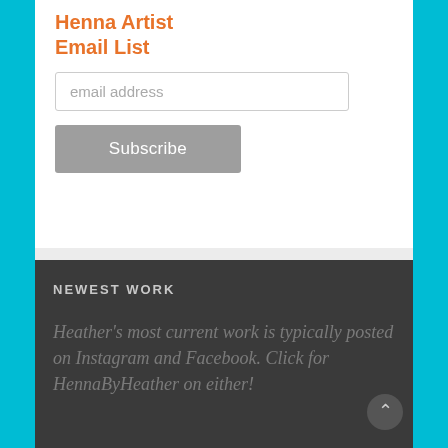Henna Artist Email List
email address
Subscribe
NEWEST WORK
Heather's most current work is typically posted on Instagram and Facebook. Click for HennaByHeather on either!